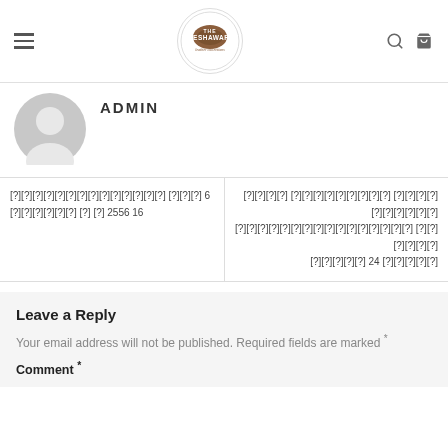The Peshawari - leather collections
[Figure (logo): The Peshawari leather collections circular logo]
ADMIN
[Figure (illustration): Generic grey user avatar circle icon]
| [garbled text] پیر 6
[garbled text] 2556 16 | [garbled text]
[garbled text]
[garbled text] 24 [garbled text] |
Leave a Reply
Your email address will not be published. Required fields are marked *
Comment *